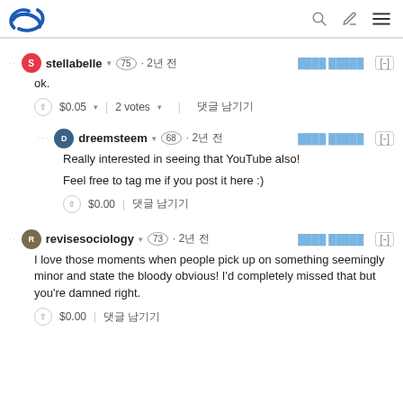Steem logo and navigation icons
ok.
stellabelle · 75 · 2년 전
Really interested in seeing that YouTube also!
Feel free to tag me if you post it here :)
dreemsteem · 68 · 2년 전
I love those moments when people pick up on something seemingly minor and state the bloody obvious! I'd completely missed that but you're damned right.
revisesociology · 73 · 2년 전